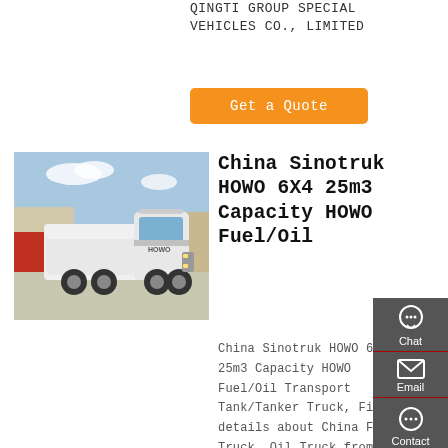QINGTI GROUP SPECIAL VEHICLES CO., LIMITED
Get a Quote
[Figure (photo): Front view of a white Sinotruk HOWO 6X4 tanker truck parked in a lot]
China Sinotruk HOWO 6X4 25m3 Capacity HOWO Fuel/Oil
China Sinotruk HOWO 6X4 25m3 Capacity HOWO Fuel/Oil Transport Tank/Tanker Truck, Find details about China Fuel Truck, Oil Truck from Sinotruk HOWO 6X4 25m3